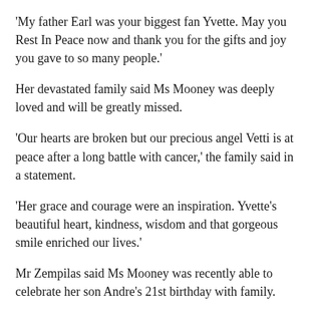'My father Earl was your biggest fan Yvette. May you Rest In Peace now and thank you for the gifts and joy you gave to so many people.'
Her devastated family said Ms Mooney was deeply loved and will be greatly missed.
'Our hearts are broken but our precious angel Vetti is at peace after a long battle with cancer,' the family said in a statement.
'Her grace and courage were an inspiration. Yvette's beautiful heart, kindness, wisdom and that gorgeous smile enriched our lives.'
Mr Zempilas said Ms Mooney was recently able to celebrate her son Andre's 21st birthday with family.
'(Celebrating) with the extended family was so special to her,' he said.
Ms Mooney is survived by Andre and her husband Phil